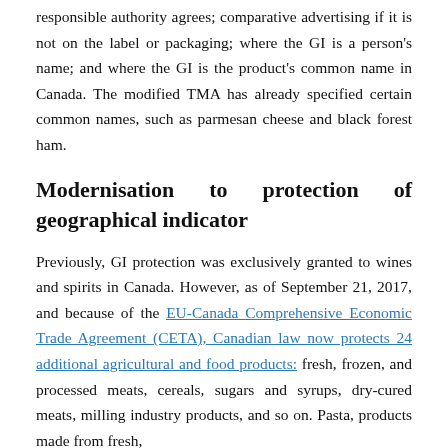responsible authority agrees; comparative advertising if it is not on the label or packaging; where the GI is a person's name; and where the GI is the product's common name in Canada. The modified TMA has already specified certain common names, such as parmesan cheese and black forest ham.
Modernisation to protection of geographical indicator
Previously, GI protection was exclusively granted to wines and spirits in Canada. However, as of September 21, 2017, and because of the EU-Canada Comprehensive Economic Trade Agreement (CETA), Canadian law now protects 24 additional agricultural and food products: fresh, frozen, and processed meats, cereals, sugars and syrups, dry-cured meats, milling industry products, and so on. Pasta, products made from fresh,